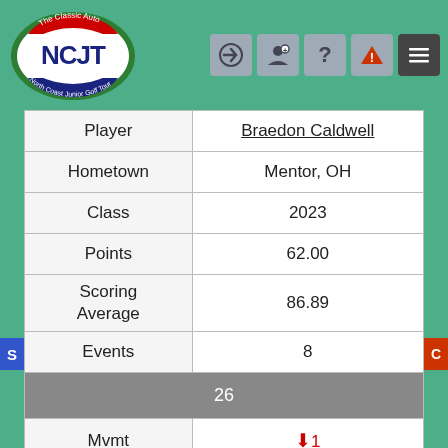[Figure (logo): NCJT North Coast Junior Golf Tour logo - circular badge with red, white, blue and green colors]
| Player | Braedon Caldwell |
| --- | --- |
| Hometown | Mentor, OH |
| Class | 2023 |
| Points | 62.00 |
| Scoring Average | 86.89 |
| Events | 8 |
| 26 |  |
| Mvmt | ↓1 |
| Player | Parker Barrett |
| Hometown | Aurora, OH |
| Class | 2024 |
| Points | 54.00 |
| Scoring Average | 78.00 |
| Events | 1 |